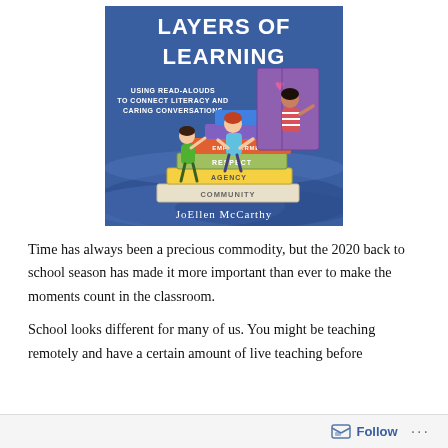[Figure (illustration): Book cover of 'Layers of Learning: Using Read-Alouds to Connect Literacy and Caring Conversations' by JoEllen McCarthy. Features illustrated children climbing stacked books labeled Community, Agency, Respect, Empowerment against a blue background.]
Time has always been a precious commodity, but the 2020 back to school season has made it more important than ever to make the moments count in the classroom.
School looks different for many of us. You might be teaching remotely and have a certain amount of live teaching before
Follow ...